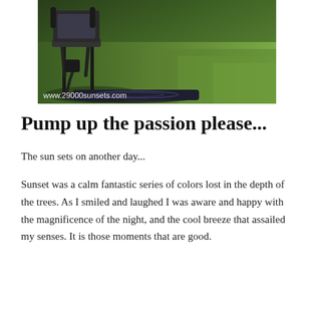[Figure (photo): Outdoor photo showing a patio chair with a decorative rug on green grass. Watermark reads www.29000sunsets.com in white text at bottom left.]
Pump up the passion please...
The sun sets on another day...
Sunset was a calm fantastic series of colors lost in the depth of the trees. As I smiled and laughed I was aware and happy with the magnificence of the night, and the cool breeze that assailed my senses. It is those moments that are good.